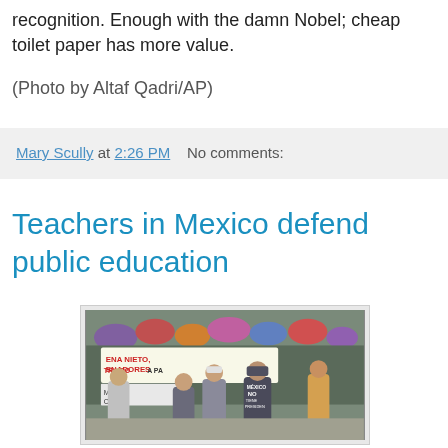recognition. Enough with the damn Nobel; cheap toilet paper has more value.
(Photo by Altaf Qadri/AP)
Mary Scully at 2:26 PM   No comments:
Teachers in Mexico defend public education
[Figure (photo): A crowd of protesters marching in the street, some holding a banner reading 'ENA NIETO, ENADORES TRAIDO A PA' and a sign 'MAS A CA', with a man in the foreground wearing a shirt reading 'MEXICO NO TIENE PRESIDEN'. People carry colorful umbrellas in the background.]